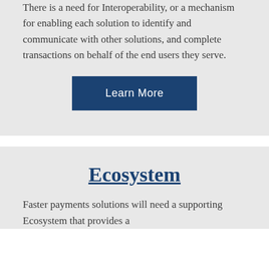There is a need for Interoperability, or a mechanism for enabling each solution to identify and communicate with other solutions, and complete transactions on behalf of the end users they serve.
[Figure (other): Dark blue 'Learn More' button]
Ecosystem
Faster payments solutions will need a supporting Ecosystem that provides a